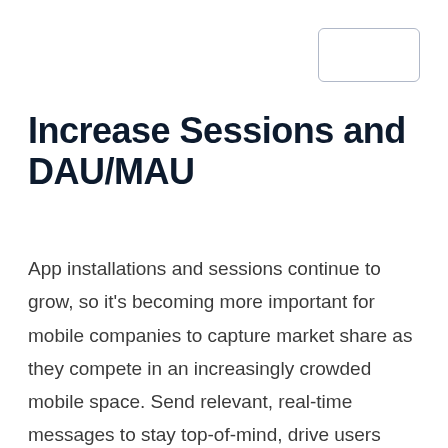[Figure (other): Empty rounded rectangle box in upper right corner, likely a logo placeholder]
Increase Sessions and DAU/MAU
App installations and sessions continue to grow, so it’s becoming more important for mobile companies to capture market share as they compete in an increasingly crowded mobile space. Send relevant, real-time messages to stay top-of-mind, drive users